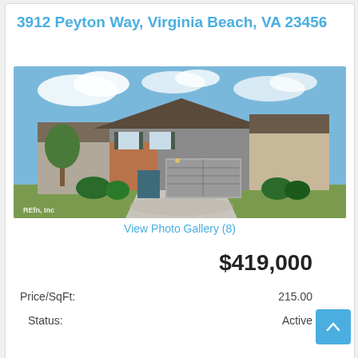3912 Peyton Way, Virginia Beach, VA 23456
[Figure (photo): Exterior photo of a two-story suburban home with brick and gray siding, attached garage, landscaped front yard, blue sky with clouds]
View Photo Gallery (8)
$419,000
Price/SqFt:
215.00
Status:
Active